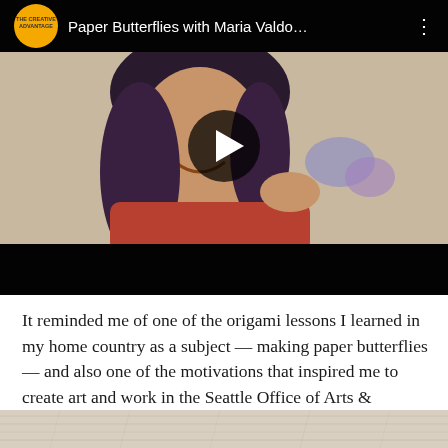[Figure (screenshot): YouTube video thumbnail showing a woman smiling and holding a paper butterfly, with The Creative Advantage logo and title 'Paper Butterflies with Maria Valdo...' in the top bar, and a play button overlay in the center.]
It reminded me of one of the origami lessons I learned in my home country as a subject — making paper butterflies — and also one of the motivations that inspired me to create art and work in the Seattle Office of Arts & Culture.
[Figure (photo): Partial view of a light-colored textured surface, appears to be the top edge of a photo below the text block.]